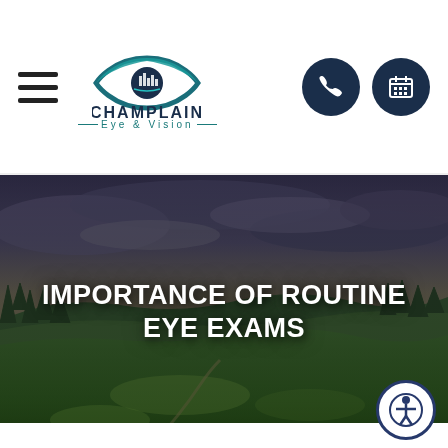[Figure (logo): Champlain Eye & Vision logo with eye icon above the text CHAMPLAIN Eye & Vision]
IMPORTANCE OF ROUTINE EYE EXAMS
[Figure (photo): Scenic countryside landscape with green rolling fields, autumn trees, and dramatic cloudy sky serving as hero background image]
[Figure (other): Accessibility icon button (person with arms outstretched in circle) in bottom right corner]